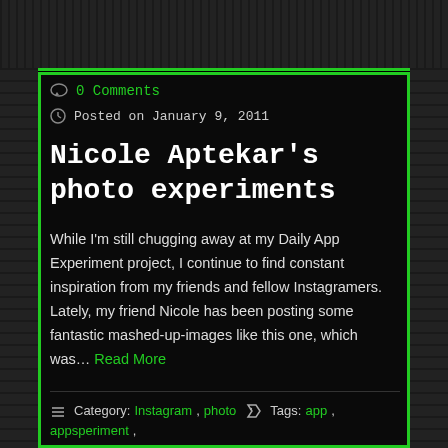0 Comments
Posted on January 9, 2011
Nicole Aptekar's photo experiments
While I'm still chugging away at my Daily App Experiment project, I continue to find constant inspiration from my friends and fellow Instagramers. Lately, my friend Nicole has been posting some fantastic mashed-up-images like this one, which was… Read More
Category: Instagram, photo   Tags: app, appsperiment,